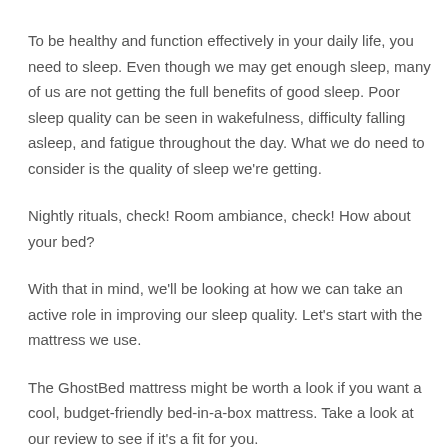To be healthy and function effectively in your daily life, you need to sleep. Even though we may get enough sleep, many of us are not getting the full benefits of good sleep. Poor sleep quality can be seen in wakefulness, difficulty falling asleep, and fatigue throughout the day. What we do need to consider is the quality of sleep we're getting.
Nightly rituals, check! Room ambiance, check! How about your bed?
With that in mind, we'll be looking at how we can take an active role in improving our sleep quality. Let's start with the mattress we use.
The GhostBed mattress might be worth a look if you want a cool, budget-friendly bed-in-a-box mattress. Take a look at our review to see if it's a fit for you.